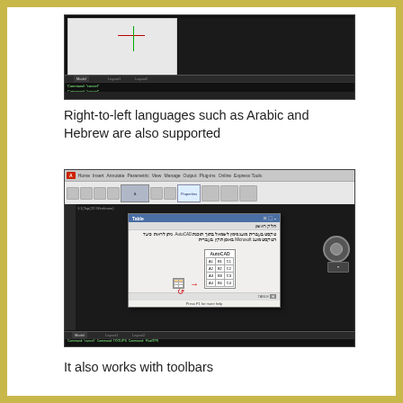[Figure (screenshot): AutoCAD software screenshot showing a dark drawing area with a white canvas region, tab bar, and command line at the bottom]
Right-to-left languages such as Arabic and Hebrew are also supported
[Figure (screenshot): AutoCAD software screenshot showing the ribbon toolbar, a dark drawing canvas, and a dialog box with Hebrew text and a table labeled AutoCAD with cells A1-C4]
It also works with toolbars